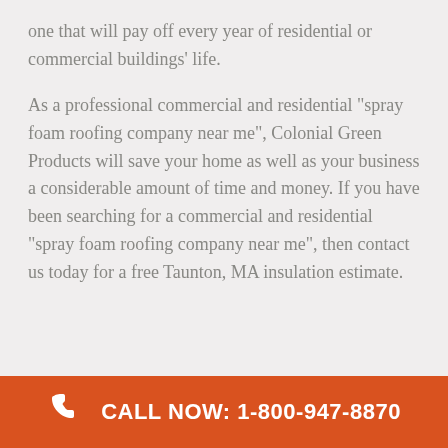one that will pay off every year of residential or commercial buildings' life.
As a professional commercial and residential "spray foam roofing company near me", Colonial Green Products will save your home as well as your business a considerable amount of time and money. If you have been searching for a commercial and residential "spray foam roofing company near me", then contact us today for a free Taunton, MA insulation estimate.
CALL NOW: 1-800-947-8870